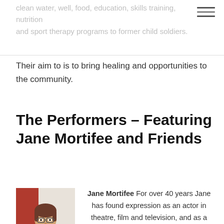clean water, well, food, education, skills training, nutrition and sport therapy programs to former child soldiers.
Their aim to is to bring healing and opportunities to the community.
The Performers – Featuring Jane Mortifee and Friends
[Figure (photo): Photo of Jane Mortifee, a woman with short brown hair and glasses, wearing a denim jacket, arms crossed, against a red and white background.]
Jane Mortifee For over 40 years Jane has found expression as an actor in theatre, film and television, and as a singer she has released three CDs. For many years, she was Vancouver's top V/O and jingle performer, and a busy session singer for many recording artists. She has